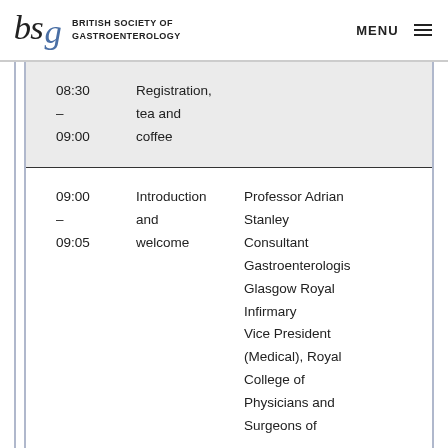BRITISH SOCIETY OF GASTROENTEROLOGY | MENU
| Time | Description | Speaker |
| --- | --- | --- |
| 08:30 – 09:00 | Registration, tea and coffee |  |
| 09:00 – 09:05 | Introduction and welcome | Professor Adrian Stanley Consultant Gastroenterologist Glasgow Royal Infirmary Vice President (Medical), Royal College of Physicians and Surgeons of |